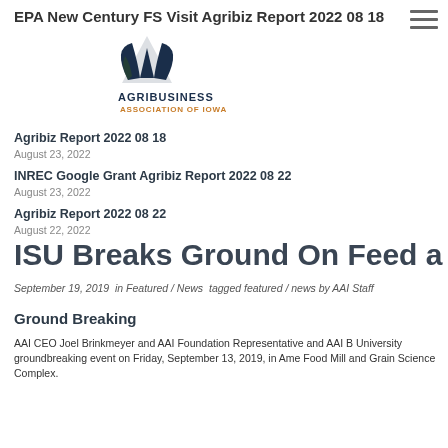EPA New Century FS Visit Agribiz Report 2022 08 18
[Figure (logo): Agribusiness Association of Iowa logo with tree/leaf graphic, bold dark blue AGRIBUSINESS text and orange ASSOCIATION OF IOWA text]
Agribiz Report 2022 08 18
August 23, 2022
INREC Google Grant Agribiz Report 2022 08 22
August 23, 2022
Agribiz Report 2022 08 22
August 22, 2022
ISU Breaks Ground On Feed a
September 19, 2019  in Featured / News  tagged featured / news by AAI Staff
Ground Breaking
AAI CEO Joel Brinkmeyer and AAI Foundation Representative and AAI B University groundbreaking event on Friday, September 13, 2019, in Ame Food Mill and Grain Science Complex.